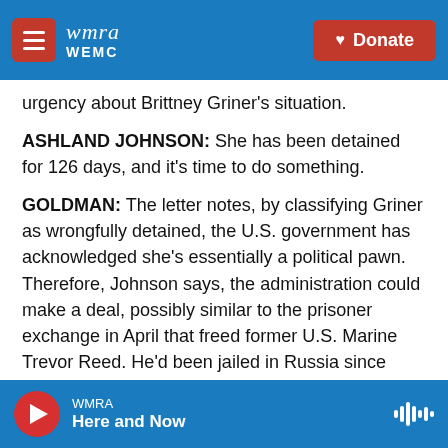WMRA WEMC | Donate
urgency about Brittney Griner's situation.
ASHLAND JOHNSON: She has been detained for 126 days, and it's time to do something.
GOLDMAN: The letter notes, by classifying Griner as wrongfully detained, the U.S. government has acknowledged she's essentially a political pawn. Therefore, Johnson says, the administration could make a deal, possibly similar to the prisoner exchange in April that freed former U.S. Marine Trevor Reed. He'd been jailed in Russia since 2020.
WMRA | Here and Now